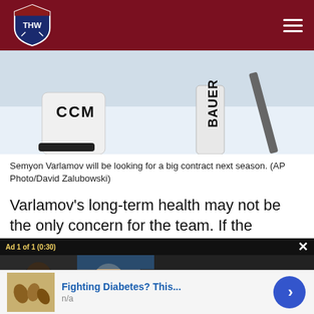THW - The Hockey Writers
[Figure (photo): Close-up of a hockey goalie's equipment on ice — CCM and Bauer branded pads and stick visible]
Semyon Varlamov will be looking for a big contract next season. (AP Photo/David Zalubowski)
Varlamov's long-term health may not be the only concern for the team. If the Avalanche believe they are entering their winning window, then Varlamov may not be their answer.
[Figure (screenshot): Video ad overlay: 'NHL COVID-19 PROTOCOLS AGAIN' with text 'Up Next - New NHL season ahead means, COVID-19 protocols are back.' Ad 1 of 1 (0:30)]
pockets to shell out the big dollars Varlamov will want...
[Figure (infographic): Bottom banner advertisement: 'Fighting Diabetes? This...' with n/a subtext and a forward arrow button]